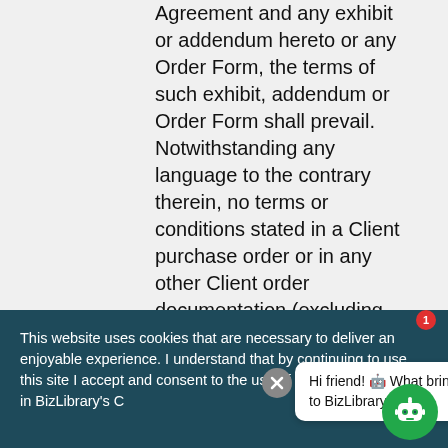Agreement and any exhibit or addendum hereto or any Order Form, the terms of such exhibit, addendum or Order Form shall prevail. Notwithstanding any language to the contrary therein, no terms or conditions stated in a Client purchase order or in any other Client order documentation (excluding Order Forms) shall be incorporated into or form any part of this Agreement, and all such terms shall be null and void. No waiver of any breach of this
This website uses cookies that are necessary to deliver an enjoyable experience. I understand that by continuing to use this site I accept and consent to the use of cookies as outlined in BizLibrary's C...
Hi friend! 🤖 What brings you to BizLibrary?